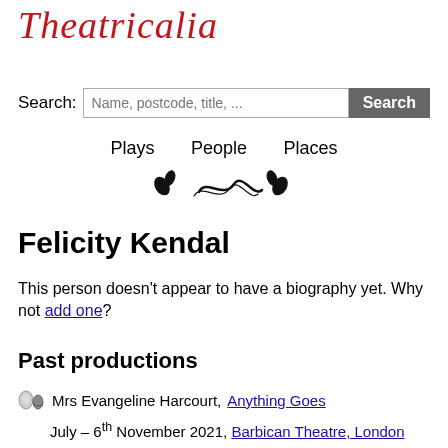Theatricalia
Search: Name, postcode, title, ...
Plays  People  Places
[Figure (illustration): Decorative ornament with floral and scroll motifs]
Felicity Kendal
This person doesn't appear to have a biography yet. Why not add one?
Past productions
Mrs Evangeline Harcourt, Anything Goes
July – 6th November 2021, Barbican Theatre, London